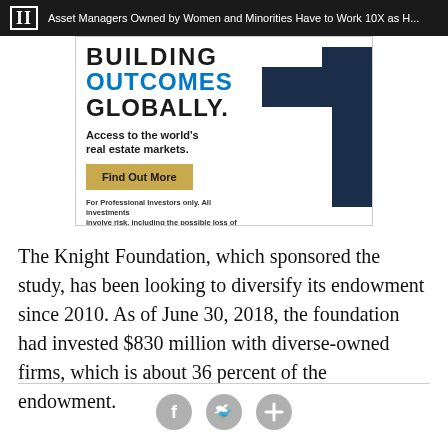II  Asset Managers Owned by Women and Minorities Have to Work 10X as H...
[Figure (infographic): Advertisement banner: BUILDING OUTCOMES GLOBALLY. Access to the world's real estate markets. Find Out More button. For Professional Investors only. All investments involve risk, including the possible loss of capital. a0F4R00002Th4BrUAJ. Dark blue upward arrow graphic on right side.]
The Knight Foundation, which sponsored the study, has been looking to diversify its endowment since 2010. As of June 30, 2018, the foundation had invested $830 million with diverse-owned firms, which is about 36 percent of the endowment.
[Figure (infographic): Social sharing icons row: Facebook, Twitter, and Plus/Add icons in grey circles]